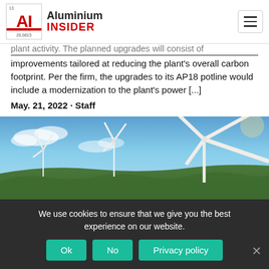Aluminium Insider
plant activity. The planned upgrades will consist of improvements tailored at reducing the plant's overall carbon footprint. Per the firm, the upgrades to its AP18 potline would include a modernization to the plant's power [...]
May. 21, 2022 · Staff
[Figure (photo): Aerial photograph of wind turbines on a forested hillside landscape under a blue sky]
We use cookies to ensure that we give you the best experience on our website.